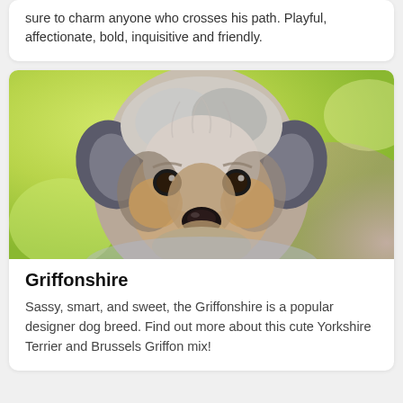sure to charm anyone who crosses his path. Playful, affectionate, bold, inquisitive and friendly.
[Figure (photo): Close-up photograph of a small fluffy dog (Griffonshire - Yorkshire Terrier and Brussels Griffon mix) with gray, white and tan fur, dark eyes, and a black nose, against a blurred green and purple background.]
Griffonshire
Sassy, smart, and sweet, the Griffonshire is a popular designer dog breed. Find out more about this cute Yorkshire Terrier and Brussels Griffon mix!